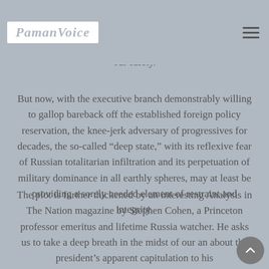PamanVoice logo and navigation
and Cambodia, I persist in my skepticism concerning the degree of competence we can expect from the bureaucrats and generals to whom we reluctantly entrust our safety.
But now, with the executive branch demonstrably willing to gallop bareback off the established foreign policy reservation, the knee-jerk adversary of progressives for decades, the so-called “deep state,” with its reflexive fear of Russian totalitarian infiltration and its perpetuation of military dominance in all earthly spheres, may at least be providing a sorely needed element of restraint and integrity.
The plot is further thickened by an interesting Analysis in The Nation magazine by Stephen Cohen, a Princeton professor emeritus and lifetime Russia watcher. He asks us to take a deep breath in the midst of our an about the president’s apparent capitulation to his